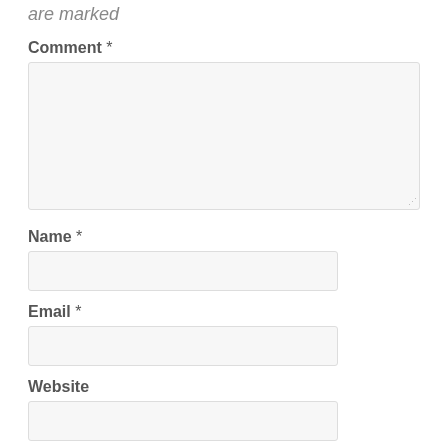are marked
Comment *
[Figure (other): Large textarea input box for comment entry]
Name *
[Figure (other): Text input box for name]
Email *
[Figure (other): Text input box for email]
Website
[Figure (other): Text input box for website]
Save my name, email, and website in this browser for the next time I comment.